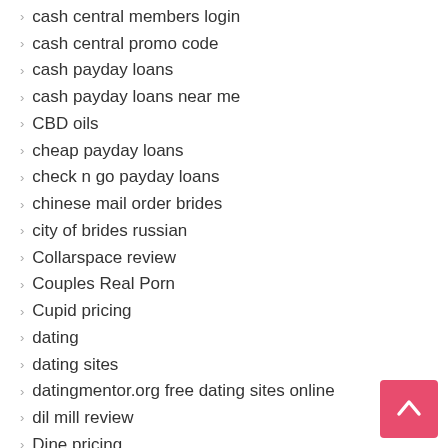cash central members login
cash central promo code
cash payday loans
cash payday loans near me
CBD oils
cheap payday loans
check n go payday loans
chinese mail order brides
city of brides russian
Collarspace review
Couples Real Porn
Cupid pricing
dating
dating sites
datingmentor.org free dating sites online
dil mill review
Dine pricing
Drivers
Easy Bad Credit Idaho Online